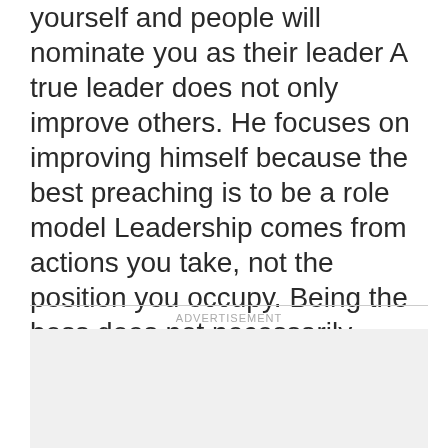yourself and people will nominate you as their leader A true leader does not only improve others. He focuses on improving himself because the best preaching is to be a role model Leadership comes from actions you take, not the position you occupy. Being the boss does not necessarily make you the leader A leader who does not READ can't LEAD his people. He can only LID them by being the lid that blocks their progress in life #FreeLeahSharibu #RenosNuggets.
ADVERTISEMENT
[Figure (other): Advertisement placeholder box with light gray background]